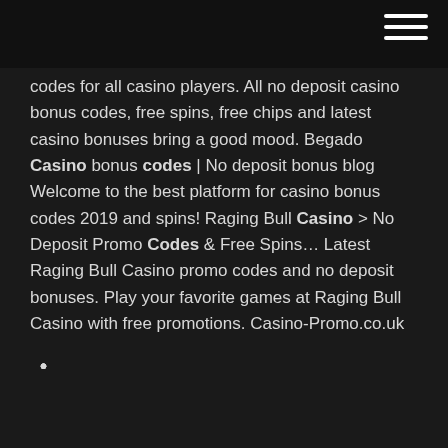codes for all casino players. All no deposit casino bonus codes, free spins, free chips and latest casino bonuses bring a good mood. Begado Casino bonus codes | No deposit bonus blog Welcome to the best platform for casino bonus codes 2019 and spins! Raging Bull Casino > No Deposit Promo Codes & Free Spins… Latest Raging Bull Casino promo codes and no deposit bonuses. Play your favorite games at Raging Bull Casino with free promotions. Casino-Promo.co.uk